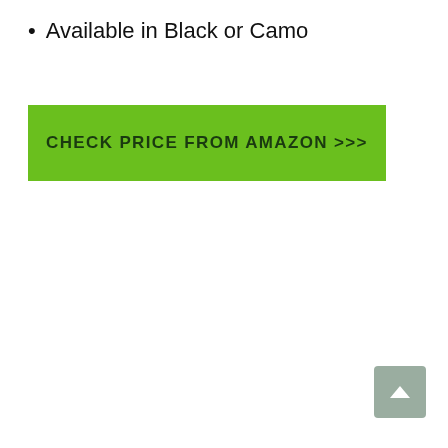Available in Black or Camo
[Figure (other): Green call-to-action button with text CHECK PRICE FROM AMAZON >>>]
[Figure (other): Gray scroll-to-top button with upward chevron arrow in bottom right corner]